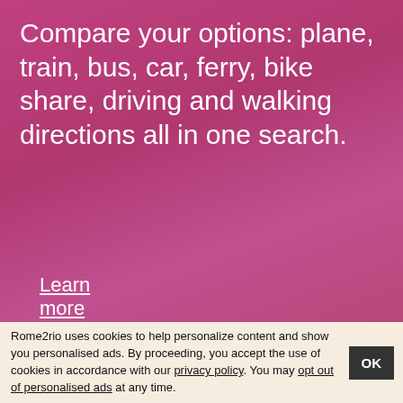Compare your options: plane, train, bus, car, ferry, bike share, driving and walking directions all in one search.
Learn more about our apps
Rome2rio uses cookies to help personalize content and show you personalised ads. By proceeding, you accept the use of cookies in accordance with our privacy policy. You may opt out of personalised ads at any time.